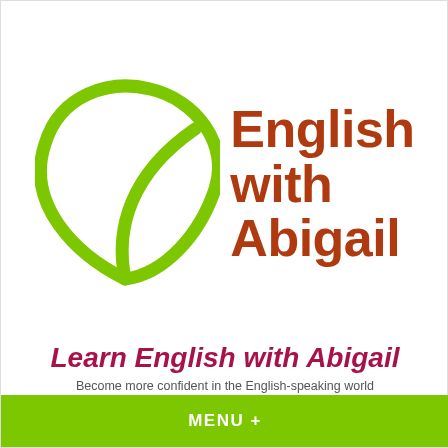[Figure (logo): Green leaf outline logo with bold red-brown text reading 'English with Abigail']
Learn English with Abigail
Become more confident in the English-speaking world
MENU +